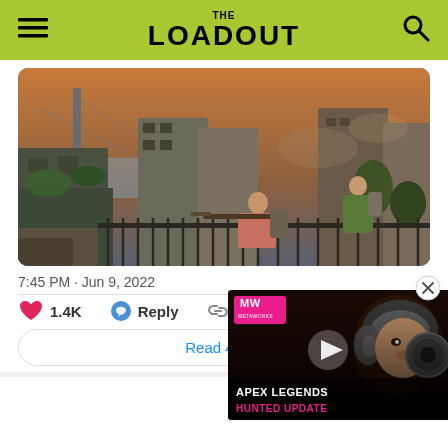THE LOADOUT
[Figure (screenshot): Game art screenshot showing two characters on a rooftop in a post-apocalyptic city, one aiming a rifle, with a destroyed cityscape and bridge in the background.]
7:45 PM · Jun 9, 2022
❤ 1.4K  Reply
Read 42 r...
[Figure (screenshot): Video thumbnail overlay showing Apex Legends Hunted Update promotional video with MW logo, a character with headphones, and a play button.]